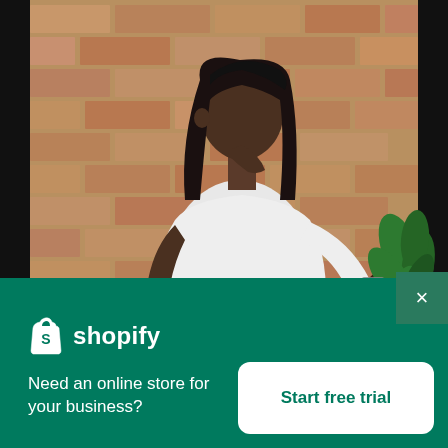[Figure (photo): A woman with long black hair wearing a white t-shirt stands in profile against a brick wall, holding green plant leaves with her right hand, wearing bracelets and a watch. Photo occupies the top portion of the image.]
×
[Figure (logo): Shopify logo — white shopping bag icon with letter S, followed by white text 'shopify' in bold sans-serif]
Need an online store for your business?
Start free trial